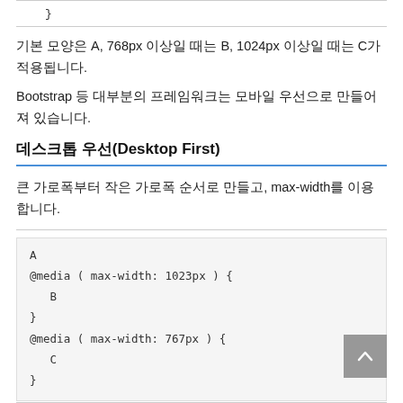}
기본 모양은 A, 768px 이상일 때는 B, 1024px 이상일 때는 C가 적용됩니다.
Bootstrap 등 대부분의 프레임워크는 모바일 우선으로 만들어져 있습니다.
데스크톱 우선(Desktop First)
큰 가로폭부터 작은 가로폭 순서로 만들고, max-width를 이용합니다.
A
@media ( max-width: 1023px ) {
   B
}
@media ( max-width: 767px ) {
   C
}